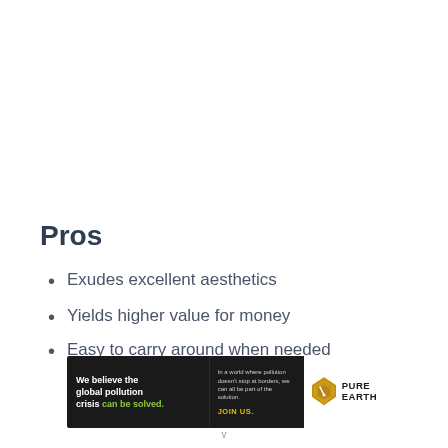Pros
Exudes excellent aesthetics
Yields higher value for money
Easy to carry around when needed
[Figure (other): Pure Earth advertisement banner: 'We believe the global pollution crisis can be solved. In a world where pollution doesn't stop at borders, we can all be part of the solution. JOIN US.' with Pure Earth logo.]
v